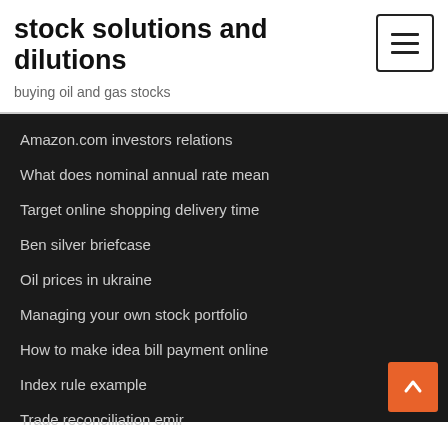stock solutions and dilutions
buying oil and gas stocks
Amazon.com investors relations
What does nominal annual rate mean
Target online shopping delivery time
Ben silver briefcase
Oil prices in ukraine
Managing your own stock portfolio
How to make idea bill payment online
Index rule example
Trade reconciliation emir
Usd inr history